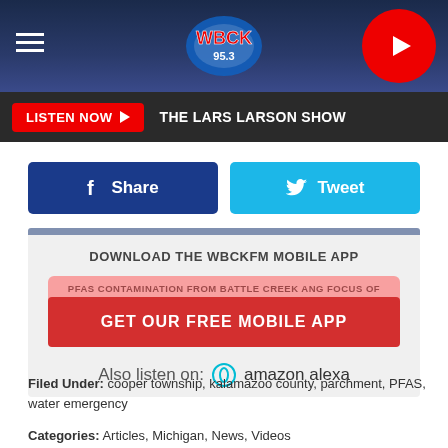[Figure (screenshot): WBCK 95.3 FM radio station mobile website screenshot showing header with logo, listen now bar, share/tweet buttons, mobile app download section, and filed under categories]
LISTEN NOW  THE LARS LARSON SHOW
Share
Tweet
DOWNLOAD THE WBCKFM MOBILE APP
PFAS CONTAMINATION FROM BATTLE CREEK ANG FOCUS OF
GET OUR FREE MOBILE APP
Also listen on:  amazon alexa
Filed Under: cooper township, kalamazoo county, parchment, PFAS, water emergency
Categories: Articles, Michigan, News, Videos